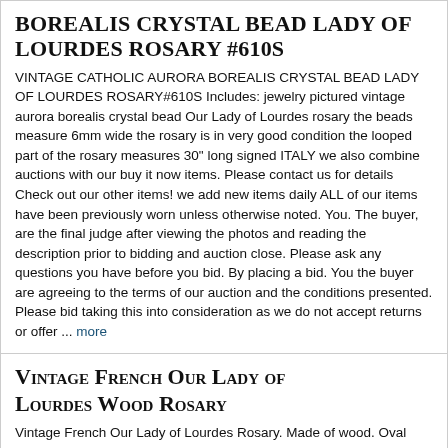BOREALIS CRYSTAL BEAD LADY OF LOURDES ROSARY #610S
VINTAGE CATHOLIC AURORA BOREALIS CRYSTAL BEAD LADY OF LOURDES ROSARY#610S Includes: jewelry pictured vintage aurora borealis crystal bead Our Lady of Lourdes rosary the beads measure 6mm wide the rosary is in very good condition the looped part of the rosary measures 30" long signed ITALY we also combine auctions with our buy it now items. Please contact us for details Check out our other items! we add new items daily ALL of our items have been previously worn unless otherwise noted. You. The buyer, are the final judge after viewing the photos and reading the description prior to bidding and auction close. Please ask any questions you have before you bid. By placing a bid. You the buyer are agreeing to the terms of our auction and the conditions presented. Please bid taking this into consideration as we do not accept returns or offer ... more
Vintage French Our Lady of Lourdes Wood Rosary
Vintage French Our Lady of Lourdes Rosary. Made of wood. Oval wooden beads with ridge on Pater beads. There is one bead missing in the rosary as you can see in the picture. Cross is marked Lourdes and France on the back. The medal is Mary on the front and Bernadette and Mary on the back.
Vintage Traditional Catholic Wood Rosary w/ Our Lady of Lourdes Centerpiece
This is a wooden Rosary. All the beads are present. The Crucifix is